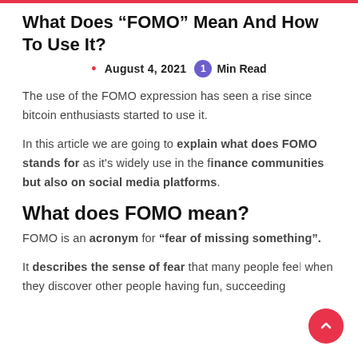What Does “FOMO” Mean And How To Use It?
• August 4, 2021  1 Min Read
The use of the FOMO expression has seen a rise since bitcoin enthusiasts started to use it.
In this article we are going to explain what does FOMO stands for as it’s widely use in the finance communities but also on social media platforms.
What does FOMO mean?
FOMO is an acronym for “fear of missing something”.
It describes the sense of fear that many people feel when they discover other people having fun, succeeding